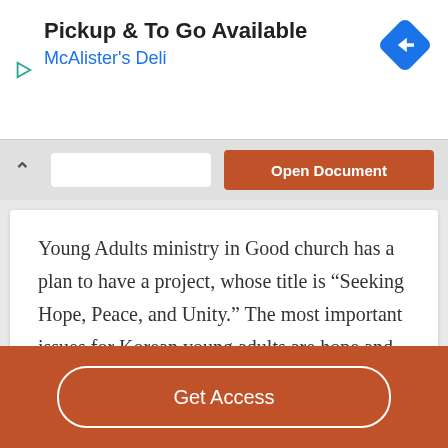[Figure (screenshot): Advertisement banner for McAlister's Deli with 'Pickup & To Go Available' text, blue link, navigation icon and play icon]
[Figure (screenshot): Toolbar with chevron up arrow, search bar, and orange 'Open Document' button]
Young Adults ministry in Good church has a plan to have a project, whose title is “Seeking Hope, Peace, and Unity.” The most important issues for Korean young adults are hope and peace as they are suffering to find out hope and peace in their
[Figure (screenshot): Orange bottom bar with 'Get Access' button outlined in white]